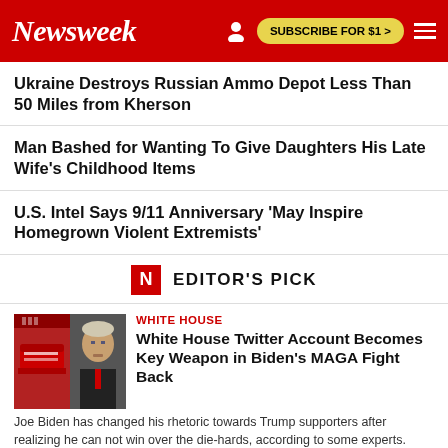Newsweek | SUBSCRIBE FOR $1 >
Ukraine Destroys Russian Ammo Depot Less Than 50 Miles from Kherson
Man Bashed for Wanting To Give Daughters His Late Wife's Childhood Items
U.S. Intel Says 9/11 Anniversary 'May Inspire Homegrown Violent Extremists'
EDITOR'S PICK
WHITE HOUSE
White House Twitter Account Becomes Key Weapon in Biden's MAGA Fight Back
Joe Biden has changed his rhetoric towards Trump supporters after realizing he can not win over the die-hards, according to some experts.